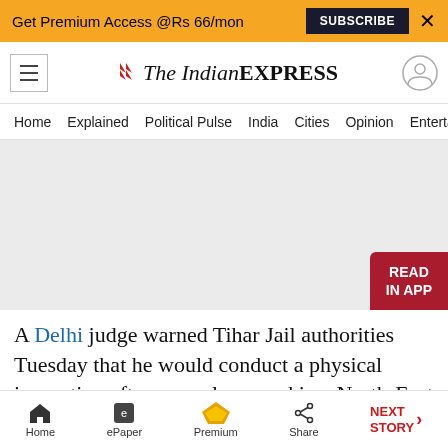Get Premium Access @Rs 66/mon  SUBSCRIBE  X
[Figure (logo): The Indian Express logo with red chevron icon]
Home  Explained  Political Pulse  India  Cities  Opinion  Entertainment
[Figure (other): Gray advertisement placeholder area with READ IN APP button]
A Delhi judge warned Tihar Jail authorities Tuesday that he would conduct a physical inspection after several accused in a North-East
Home  ePaper  Premium  Share  NEXT STORY